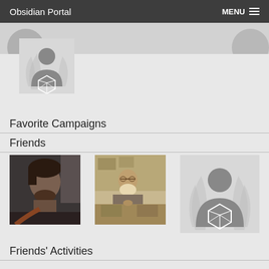Obsidian Portal  MENU
[Figure (photo): Banner strip with partially visible avatar photos on left and right]
[Figure (illustration): Default Obsidian Portal user avatar placeholder with silhouette and dice icon]
Favorite Campaigns
Friends
[Figure (photo): Photo of a young man with dark hair]
[Figure (photo): Sepia-toned photo of a bearded man at a table with game equipment]
[Figure (illustration): Default Obsidian Portal user avatar placeholder with silhouette and dice icon]
Friends' Activities